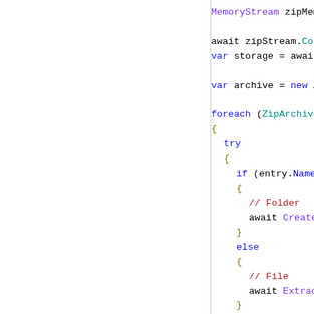[Figure (screenshot): Code snippet showing C# code with syntax highlighting. Visible partial lines include: MemoryStream zipMemor..., await zipStream.CopyToAs..., var storage = await folder...., var archive = new ZipArch..., foreach (ZipArchiveEntry e..., {, try, {, if (entry.Name == ""), {, // Folder, await CreateRecur..., }, else, {, // File, await ExtractFile(s..., }, }]